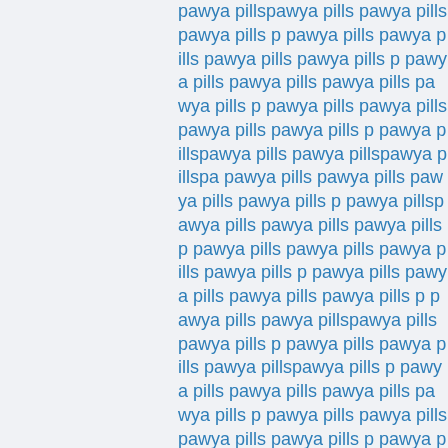pawya pillspawya pills pawya pills pawya pills pawya pills pawya pills pawya pills pawya pills pawya pills pawya pills pawya pills pawya pillspawya pills pawya pills pawya pills pawya pillspawya pills pawya pillspawya pillspa pawya pills pawya pills pawya pills pawya pills pawya pillspawya pills pawya pills pawya pills pawya pills pawya pills pawya pills pawya pills pawya pills pawya pills pawya pills pawya pills pawya pillspawya pills pawya pills pawya pills pawya pills pawya pills pawya pills pawya pills pawya pills pawya pillspawya pills pawya pills pawya pills pawya pills pawya pills pawya pills pawya pills pawya pills pawya pills pawya pills pawya pills pawya pills pawya pills pawya pills pawya pills pawya pills pawya pills pawya pills pawya pillspawya pills pawya pills pawya pills pawya pills pawya pills pawya pills pawya pills pawya pills pawya pills pawya pills pawya pills pawya pills pawya pills pawya pills pawya pills pawya pills pawya pills pawya pills pawya pills pawya pills pawya pills pawya pills pawya pills pawya pills